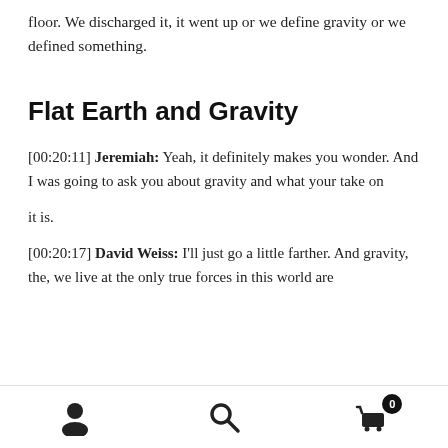floor. We discharged it, it went up or we define gravity or we defined something.
Flat Earth and Gravity
[00:20:11] Jeremiah: Yeah, it definitely makes you wonder. And I was going to ask you about gravity and what your take on
it is.
[00:20:17] David Weiss: I'll just go a little farther. And gravity, the, we live at the only true forces in this world are